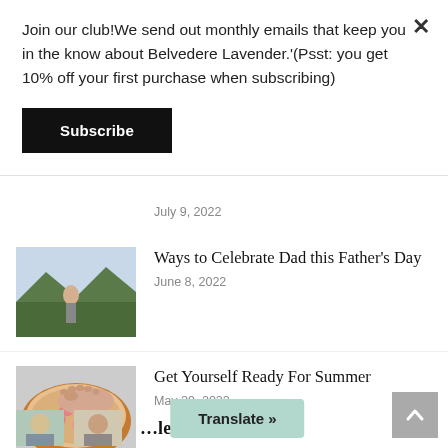Join our club!We send out monthly emails that keep you in the know about Belvedere Lavender.'(Psst: you get 10% off your first purchase when subscribing)
Subscribe
July 9, 2022
[Figure (photo): Outdoor photo showing person in field with mountains and trees]
Ways to Celebrate Dad this Father's Day
June 8, 2022
[Figure (photo): Feet in wooden bowl filled with water and pink flower petals]
Get Yourself Ready For Summer
May 29, 2022
Translate »